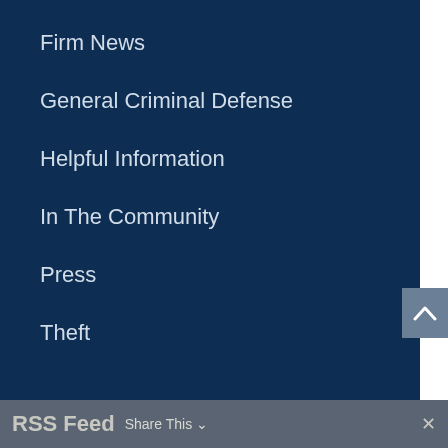Firm News
General Criminal Defense
Helpful Information
In The Community
Press
Theft
RSS Feed  Share This  ×